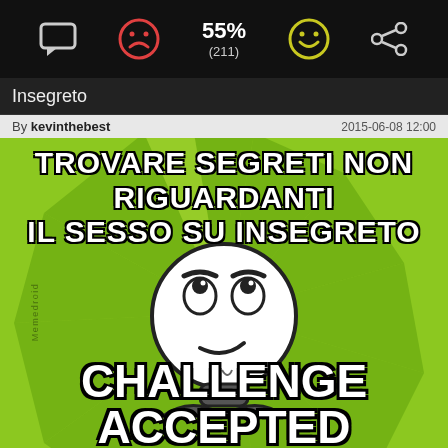[Figure (screenshot): Mobile app toolbar with comment icon, red sad face icon, 55% rating (211 votes), yellow happy face icon, and share icon on dark background]
Insegreto
By kevinthebest    2015-06-08 12:00
[Figure (illustration): Challenge Accepted meme face on green sunburst background. Top text: TROVARE SEGRETI NON RIGUARDANTI IL SESSO SU INSEGRETO. Bottom text: CHALLENGE ACCEPTED. Watermark: Memedroid]